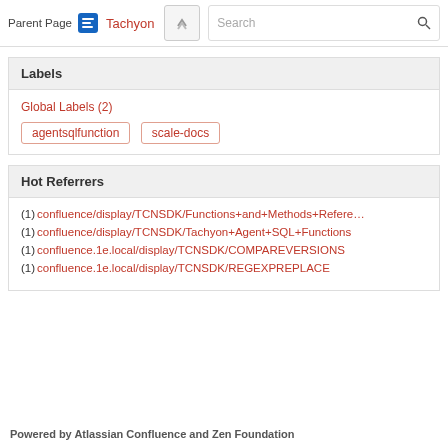Parent Page — Tachyon (navigation bar with search)
Labels
Global Labels (2)
agentsqlfunction
scale-docs
Hot Referrers
(1) confluence/display/TCNSDK/Functions+and+Methods+Refere…
(1) confluence/display/TCNSDK/Tachyon+Agent+SQL+Functions
(1) confluence.1e.local/display/TCNSDK/COMPAREVERSIONS
(1) confluence.1e.local/display/TCNSDK/REGEXPREPLACE
Powered by Atlassian Confluence and Zen Foundation